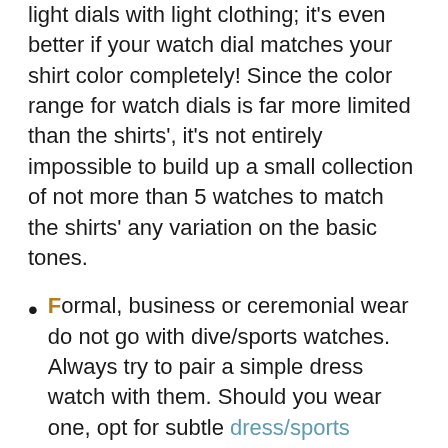light dials with light clothing; it's even better if your watch dial matches your shirt color completely! Since the color range for watch dials is far more limited than the shirts', it's not entirely impossible to build up a small collection of not more than 5 watches to match the shirts' any variation on the basic tones.
Formal, business or ceremonial wear do not go with dive/sports watches. Always try to pair a simple dress watch with them. Should you wear one, opt for subtle dress/sports Serious dive/sports watches are entirely for casual wear. Remember, anything bulky or chunky or insanely large will overthrow the equations of